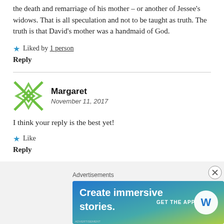the death and remarriage of his mother – or another of Jessee's widows. That is all speculation and not to be taught as truth. The truth is that David's mother was a handmaid of God.
★ Liked by 1 person
Reply
Margaret
November 11, 2017
I think your reply is the best yet!
★ Like
Reply
[Figure (illustration): Partial avatar icon visible at bottom left, red/dark colored decorative pattern]
[Figure (screenshot): WordPress advertisement banner: 'Create immersive stories. GET THE APP' with WordPress logo, gradient background blue to green/yellow]